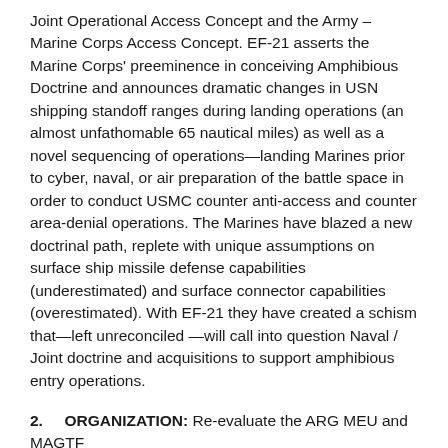Joint Operational Access Concept and the Army – Marine Corps Access Concept. EF-21 asserts the Marine Corps' preeminence in conceiving Amphibious Doctrine and announces dramatic changes in USN shipping standoff ranges during landing operations (an almost unfathomable 65 nautical miles) as well as a novel sequencing of operations—landing Marines prior to cyber, naval, or air preparation of the battle space in order to conduct USMC counter anti-access and counter area-denial operations. The Marines have blazed a new doctrinal path, replete with unique assumptions on surface ship missile defense capabilities (underestimated) and surface connector capabilities (overestimated). With EF-21 they have created a schism that—left unreconciled —will call into question Naval / Joint doctrine and acquisitions to support amphibious entry operations.
2.    ORGANIZATION: Re-evaluate the ARG MEU and MAGTF